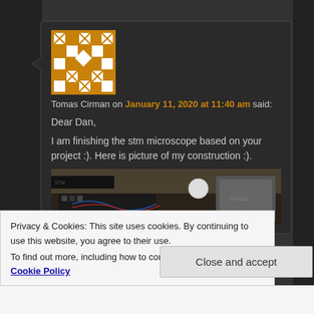[Figure (photo): Avatar image with gold and white geometric/mosaic pattern]
Tomas Cirman on January 11, 2020 at 11:40 am said:
Dear Dan,
I am finishing the stm microscope based on your project :). Here is picture of my construction :).
[Figure (photo): Photograph of STM microscope construction showing electronics and hardware on a desk]
Privacy & Cookies: This site uses cookies. By continuing to use this website, you agree to their use.
To find out more, including how to control cookies, see here: Cookie Policy
Close and accept